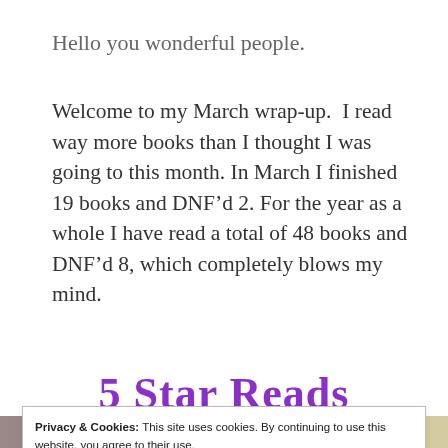Hello you wonderful people.
Welcome to my March wrap-up.  I read way more books than I thought I was going to this month. In March I finished 19 books and DNF’d 2. For the year as a whole I have read a total of 48 books and DNF’d 8, which completely blows my mind.
5 Star Reads
Privacy & Cookies: This site uses cookies. By continuing to use this website, you agree to their use.
To find out more, including how to control cookies, see here: Cookie Policy
[Figure (photo): Row of book covers partially visible at the bottom of the page]